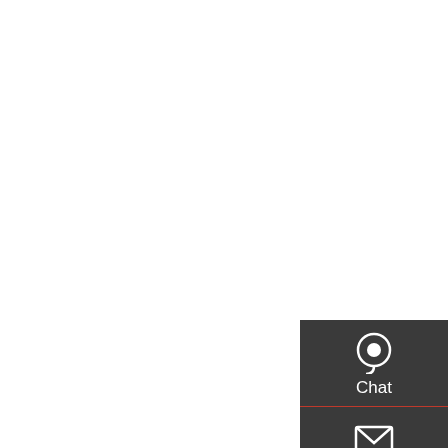articulated tractor Off Road Tipper Farm Truck For Oil Palm Plantation Transport And rotary cultivator Application: SUNLIGHT all terrain tractor is kind of tractor for multi-purpose.Small body size and turning radius,together with its light weight and floating tires features make it a perfect farm machine for various of work.its 4wd(4X4) function gives a great power and advantage for
[Figure (infographic): Dark sidebar with Chat, Email, Contact, and Top navigation icons]
Get a Quote